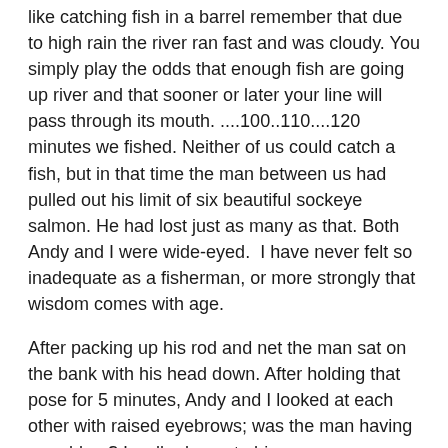like catching fish in a barrel remember that due to high rain the river ran fast and was cloudy. You simply play the odds that enough fish are going up river and that sooner or later your line will pass through its mouth. ....100..110....120 minutes we fished. Neither of us could catch a fish, but in that time the man between us had pulled out his limit of six beautiful sockeye salmon. He had lost just as many as that. Both Andy and I were wide-eyed.  I have never felt so inadequate as a fisherman, or more strongly that wisdom comes with age.
After packing up his rod and net the man sat on the bank with his head down. After holding that pose for 5 minutes, Andy and I looked at each other with raised eyebrows; was the man having a problem? I walked over to him.
“Are you alright?” I asked him tentatively.
Looking up at me he replied “Oh, bless you, yes I’m OK. I have a heart issue, so I just need to take it slow”.